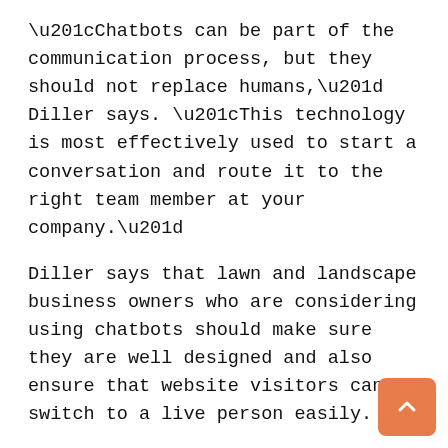“Chatbots can be part of the communication process, but they should not replace humans,” Diller says. “This technology is most effectively used to start a conversation and route it to the right team member at your company.”
Diller says that lawn and landscape business owners who are considering using chatbots should make sure they are well designed and also ensure that website visitors can switch to a live person easily.
lot of customers want this form of communication
If your main reason for not adding Live Chat is that you assume your website visitors will be